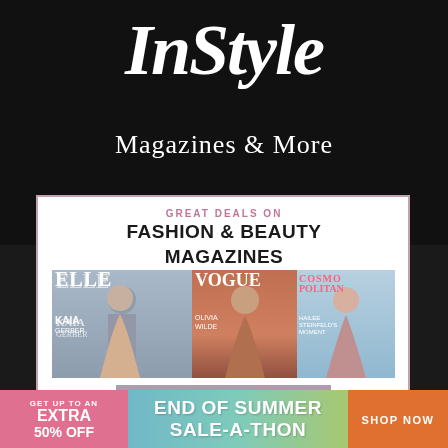InStyle
Magazines & More
GREAT DEALS ON
FASHION & BEAUTY MAGAZINES
[Figure (illustration): Three fashion magazine covers: ELLE with Kaia Gerber, VOGUE with Olivia Wilde, and Cosmopolitan featuring Hailee Steinfeld's Moment]
SUBSCRIBE NOW
GET UP TO AN EXTRA 50% OFF
END OF SUMMER SALE-A-THON
SHOP NOW